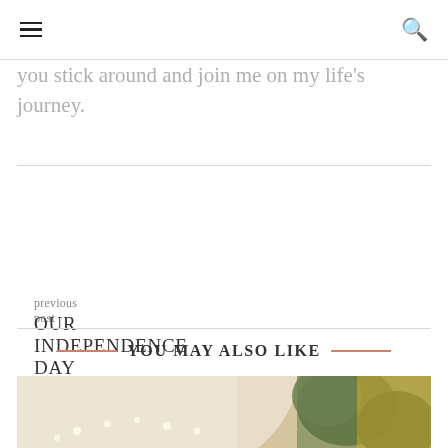☰  🔍
you stick around and join me on my life's journey.
previous post
OUR INDEPENDENCE DAY
next post
WHAT TO EXPECT AT THE WILDLIFE SAFARI
YOU MAY ALSO LIKE
[Figure (photo): Thumbnail image showing an indoor scene with string lights and decorative greenery, warm tones]